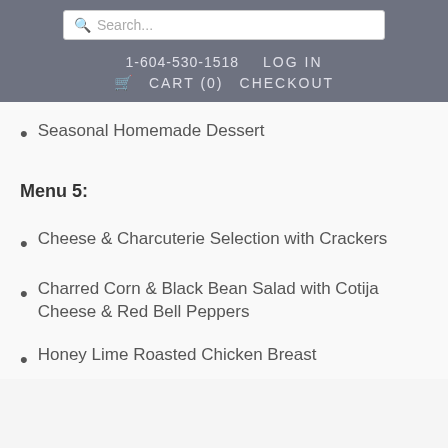Search... | 1-604-530-1518 | LOG IN | CART (0) | CHECKOUT
Seasonal Homemade Dessert
Menu 5:
Cheese & Charcuterie Selection with Crackers
Charred Corn & Black Bean Salad with Cotija Cheese & Red Bell Peppers
Honey Lime Roasted Chicken Breast